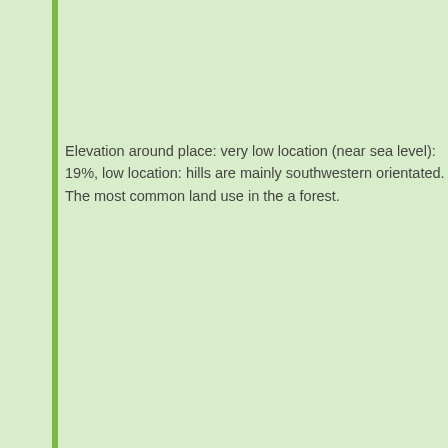Elevation around place: very low location (near sea level): 19%, low location: hills are mainly southwestern orientated. The most common land use in the a... forest.
Nearby scheduled flights are operated from (national) airport Riga International (at a distance of 192 km and direction SouthEast). The closest smaller (subna...